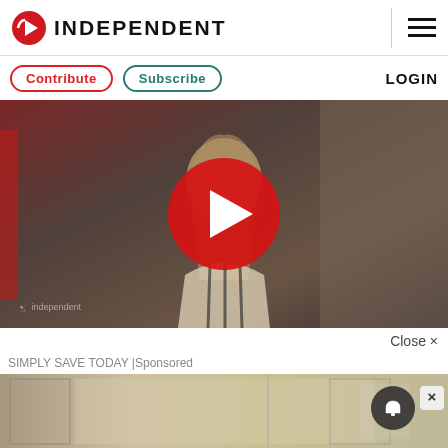INDEPENDENT
Contribute  Subscribe  LOGIN
[Figure (photo): Video thumbnail showing a woman in a white and black striped top with a red play button overlay. The Independent logo watermark is visible in the lower left.]
Close ×
SIMPLY SAVE TODAY |Sponsored
[Figure (photo): Bottom image strip showing interior space with windows. A dark notification bell icon and a close X button are overlaid on the right side.]
[Figure (other): Advertisement banner: Feeding America / Ad Council. Text reads: HUNGER IS A STORY WE CAN END.]